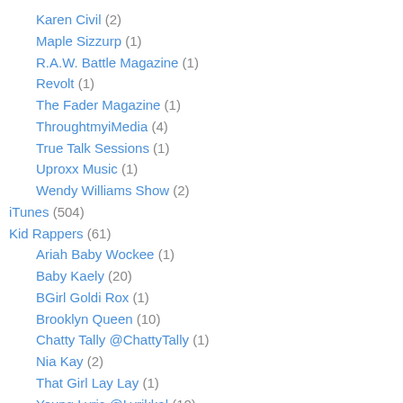Karen Civil (2)
Maple Sizzurp (1)
R.A.W. Battle Magazine (1)
Revolt (1)
The Fader Magazine (1)
ThroughtmyiMedia (4)
True Talk Sessions (1)
Uproxx Music (1)
Wendy Williams Show (2)
iTunes (504)
Kid Rappers (61)
Ariah Baby Wockee (1)
Baby Kaely (20)
BGirl Goldi Rox (1)
Brooklyn Queen (10)
Chatty Tally @ChattyTally (1)
Nia Kay (2)
That Girl Lay Lay (1)
Young Lyric @Lyrikkal (10)
Young Lyric aka Lyrikkal (6)